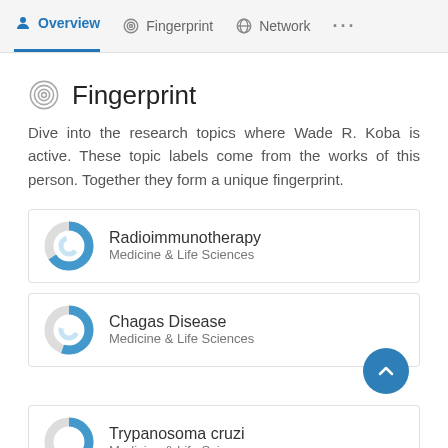Overview | Fingerprint | Network | ...
Fingerprint
Dive into the research topics where Wade R. Koba is active. These topic labels come from the works of this person. Together they form a unique fingerprint.
Radioimmunotherapy — Medicine & Life Sciences
Chagas Disease — Medicine & Life Sciences
Trypanosoma cruzi — Medicine & Life Sciences